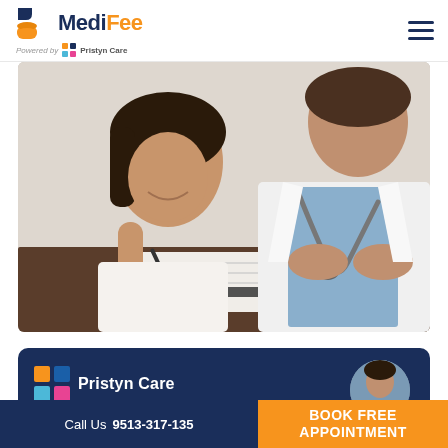MediFee — Powered by Pristyn Care
[Figure (photo): A smiling woman signing a document at a desk with a doctor in a white coat with stethoscope sitting across from her]
[Figure (logo): Pristyn Care logo with colorful cross icon and text 'Pristyn Care' on a dark navy background card]
Call Us 9513-317-135
BOOK FREE APPOINTMENT